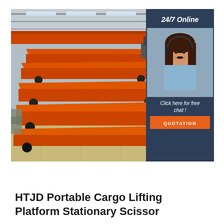[Figure (photo): Warehouse interior showing stacked orange/red industrial cargo transfer flatbed platforms (transfer carts) on rails, with overhead crane beams visible in the industrial building background. An overlaid panel on the right shows a customer service agent (woman with headset) and text '24/7 Online', 'Click here for free chat!', and an orange 'QUOTATION' button, all on a dark blue background.]
HTJD Portable Cargo Lifting Platform Stationary Scissor